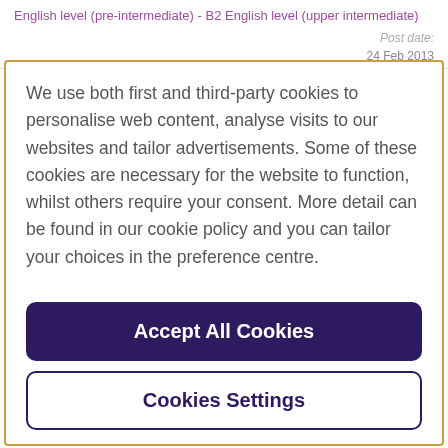English level (pre-intermediate) - B2 English level (upper intermediate)
Post date: 24 Feb 2013
We use both first and third-party cookies to personalise web content, analyse visits to our websites and tailor advertisements. Some of these cookies are necessary for the website to function, whilst others require your consent. More detail can be found in our cookie policy and you can tailor your choices in the preference centre.
Accept All Cookies
Cookies Settings